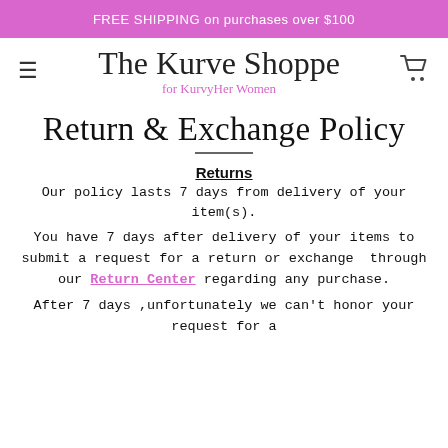FREE SHIPPING on purchases over $100
[Figure (logo): The Kurve Shoppe logo with cursive text and hamburger menu and cart icon]
Return & Exchange Policy
Returns
Our policy lasts 7 days from delivery of your item(s).
You have 7 days after delivery of your items to submit a request for a return or exchange  through our Return Center regarding any purchase.
After 7 days ,unfortunately we can't honor your request for a